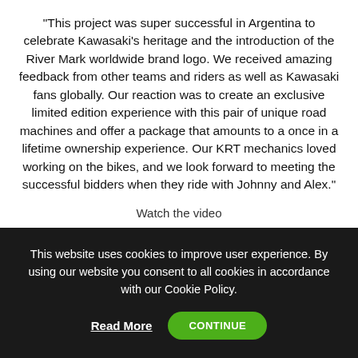“This project was super successful in Argentina to celebrate Kawasaki’s heritage and the introduction of the River Mark worldwide brand logo. We received amazing feedback from other teams and riders as well as Kawasaki fans globally. Our reaction was to create an exclusive limited edition experience with this pair of unique road machines and offer a package that amounts to a once in a lifetime ownership experience. Our KRT mechanics loved working on the bikes, and we look forward to meeting the successful bidders when they ride with Johnny and Alex.”
Watch the video
This website uses cookies to improve user experience. By using our website you consent to all cookies in accordance with our Cookie Policy.
Read More
CONTINUE